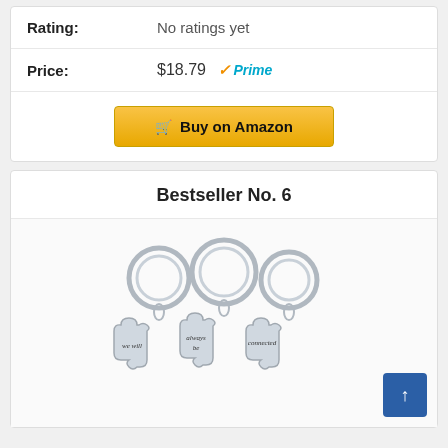Rating: No ratings yet
Price: $18.79 Prime
Buy on Amazon
Bestseller No. 6
[Figure (photo): Three interlocking puzzle piece keychains on metal rings, engraved with 'we will always be connected']